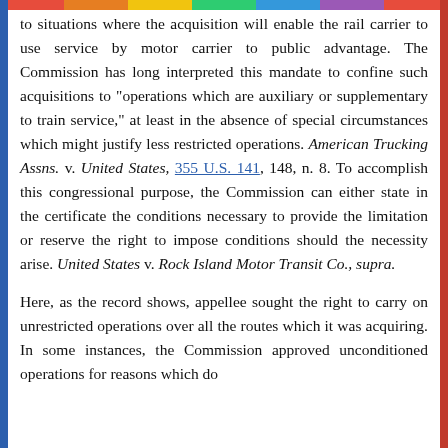to situations where the acquisition will enable the rail carrier to use service by motor carrier to public advantage. The Commission has long interpreted this mandate to confine such acquisitions to "operations which are auxiliary or supplementary to train service," at least in the absence of special circumstances which might justify less restricted operations. American Trucking Assns. v. United States, 355 U.S. 141, 148, n. 8. To accomplish this congressional purpose, the Commission can either state in the certificate the conditions necessary to provide the limitation or reserve the right to impose conditions should the necessity arise. United States v. Rock Island Motor Transit Co., supra.
Here, as the record shows, appellee sought the right to carry on unrestricted operations over all the routes which it was acquiring. In some instances, the Commission approved unconditioned operations for reasons which do